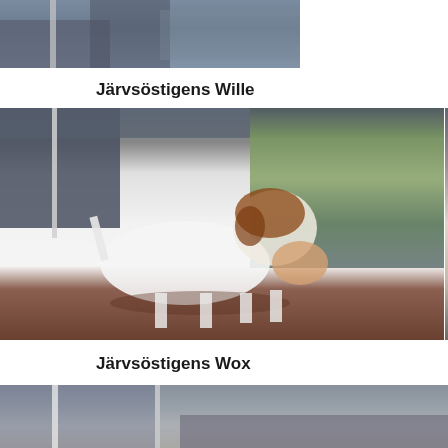[Figure (photo): Partial photo of a dog being held, cropped at top of page]
Järvsöstigens Wille
[Figure (photo): Two photos side by side of a Jack Russell Terrier puppy named Järvsöstigens Wille — left shows full side profile of white and brown puppy standing on dirt, right shows close-up of puppy's face being held]
Järvsöstigens Wox
[Figure (photo): Partial photo at bottom of page showing the beginning of photos for Järvsöstigens Wox]